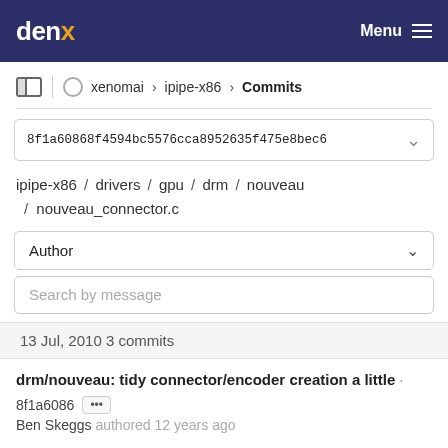denx  Menu
xenomai > ipipe-x86 > Commits
8f1a60868f4594bc5576cca8952635f475e8bec6
ipipe-x86 / drivers / gpu / drm / nouveau / nouveau_connector.c
Author
Search by message
13 Jul, 2010 3 commits
drm/nouveau: tidy connector/encoder creation a little · 8f1a6086 ··· Ben Skeggs authored 12 years ago
Imprint & Privacy Policy